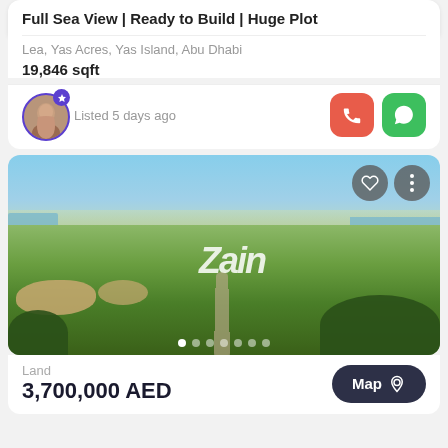Full Sea View | Ready to Build | Huge Plot
Lea, Yas Acres, Yas Island, Abu Dhabi
19,846 sqft
Listed 5 days ago
[Figure (photo): Aerial view of a golf course landscape with green fairways, sandy areas, water features, and blue sky. Zain watermark overlaid on image. Carousel dots at bottom.]
Land
3,700,000 AED